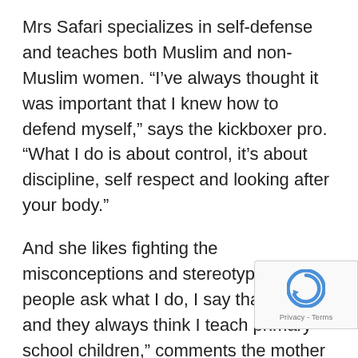Mrs Safari specializes in self-defense and teaches both Muslim and non-Muslim women. “I’ve always thought it was important that I knew how to defend myself,” says the kickboxer pro. “What I do is about control, it’s about discipline, self respect and looking after your body.”
And she likes fighting the misconceptions and stereotypes. “When people ask what I do, I say that I teach and they always think I teach primary school children,” comments the mother of four. “They don’t necessarily know that I’ve got boxing gloves in my bag, they just see the hijab and think I must be a school teacher.”
On teaching segregated classes, she makes the point: “I’ve found non-Muslim women are just as